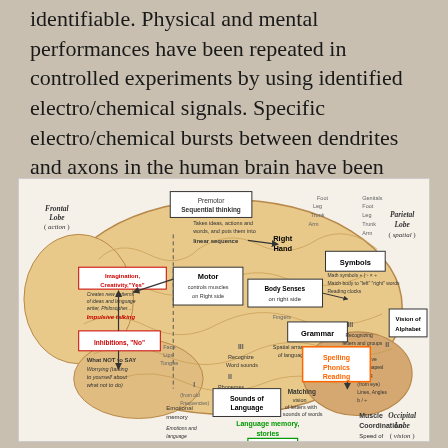identifiable. Physical and mental performances have been repeated in controlled experiments by using identified electro/chemical signals. Specific electro/chemical bursts between dendrites and axons in the human brain have been shown to create thoughts and actions.
[Figure (illustration): Labeled diagram of the human brain showing left brain view with regions including Frontal Lobe (action), Premotor Sequential thinking, Parietal Lobe (spatial), Motor, Body Senses on right side, Grammar, Symbols, Spelling Phonics Reading, Vision of Alphabet, Imagination/Creativity, Inhibitions, Language memory/stories, Memory, Emotional memory, Temporal Lobe (memory), Occipital Lobe (vision), Cerebellum, and Muscle Coordination. Copyright 2001 Stephen Halland, www.hiddantalents.org]